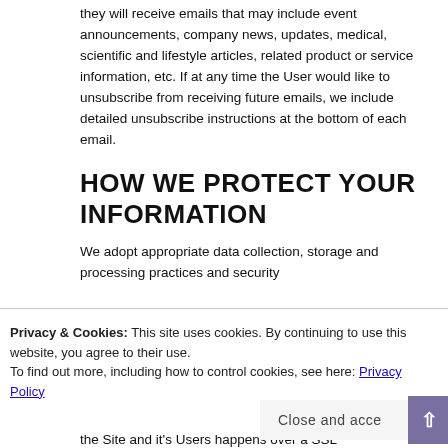they will receive emails that may include event announcements, company news, updates, medical, scientific and lifestyle articles, related product or service information, etc. If at any time the User would like to unsubscribe from receiving future emails, we include detailed unsubscribe instructions at the bottom of each email.
HOW WE PROTECT YOUR INFORMATION
We adopt appropriate data collection, storage and processing practices and security
Privacy & Cookies: This site uses cookies. By continuing to use this website, you agree to their use.
To find out more, including how to control cookies, see here: Privacy Policy
Close and acce
the Site and it's Users happens over a SSL